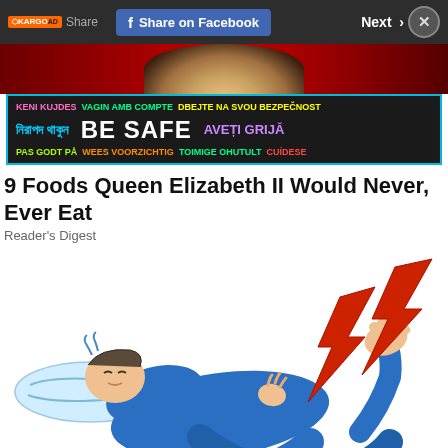[Figure (screenshot): Top navigation bar with Kargo Ad logo, Share text, Facebook Share button, Next button, and close X button on dark background]
[Figure (infographic): BE SAFE multilingual public health banner with colorful text in multiple languages on dark background]
[Figure (photo): Partial photo of Queen Elizabeth II showing necklace/jewelry on red background]
9 Foods Queen Elizabeth II Would Never, Ever Eat
Reader's Digest
[Figure (illustration): Cartoon illustration of a person lying down in blue pajamas experiencing foot/leg pain with red lightning bolt pain indicators]